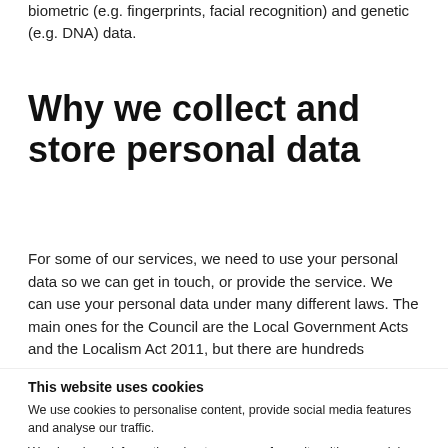biometric (e.g. fingerprints, facial recognition) and genetic (e.g. DNA) data.
Why we collect and store personal data
For some of our services, we need to use your personal data so we can get in touch, or provide the service. We can use your personal data under many different laws. The main ones for the Council are the Local Government Acts and the Localism Act 2011, but there are hundreds
This website uses cookies
We use cookies to personalise content, provide social media features and analyse our traffic.
We also share information about your use of our site with our social media and analytics partners. They may combine it with other information that you have provided to them or that they have collected when you used their services.
You consent to our cookies if you continue to use our website.